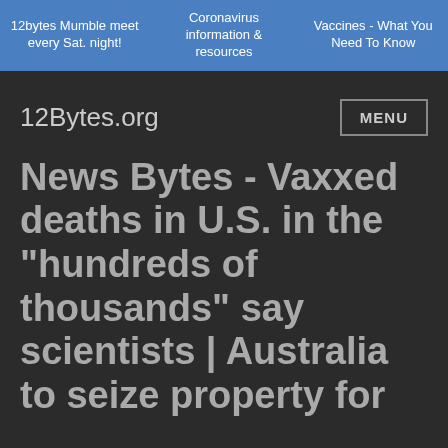12bytes Mumble meet every Sat. night! | Coronavirus information & resources | Vaccines - What You Need To Know
12Bytes.org
MENU
News Bytes - Vaxxed deaths in U.S. in the "hundreds of thousands" say scientists | Australia to seize property for